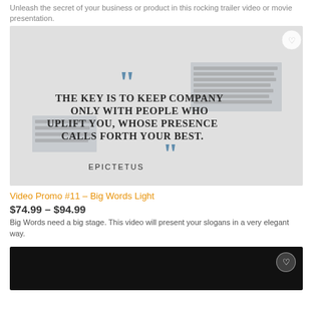Unleash the secret of your business or product in this rocking trailer video or movie presentation.
[Figure (screenshot): Video thumbnail showing a quote slide: 'THE KEY IS TO KEEP COMPANY ONLY WITH PEOPLE WHO UPLIFT YOU, WHOSE PRESENCE CALLS FORTH YOUR BEST.' attributed to EPICTETUS, with large blue quotation marks, on a light grey background with blurred text elements.]
Video Promo #11 – Big Words Light
$74.99 – $94.99
Big Words need a big stage. This video will present your slogans in a very elegant way.
[Figure (screenshot): Dark/black video thumbnail, partially visible at bottom of page.]